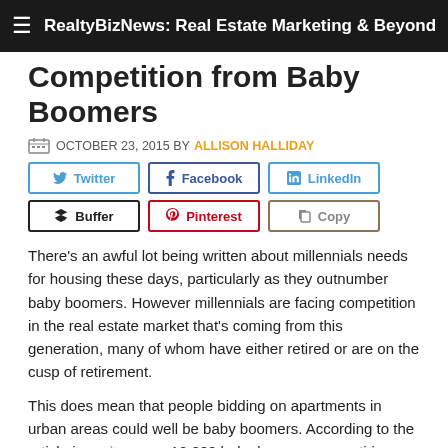RealtyBizNews: Real Estate Marketing & Beyond
Competition from Baby Boomers
OCTOBER 23, 2015 BY ALLISON HALLIDAY
[Figure (other): Social share buttons: Twitter, Facebook, LinkedIn, Buffer, Pinterest, Copy]
There’s an awful lot being written about millennials needs for housing these days, particularly as they outnumber baby boomers. However millennials are facing competition in the real estate market that’s coming from this generation, many of whom have either retired or are on the cusp of retirement.
This does mean that people bidding on apartments in urban areas could well be baby boomers. According to the article in realtor.com, 10,000 baby boomers are retiring every day, and as many are looking to downsize they are also increasingly